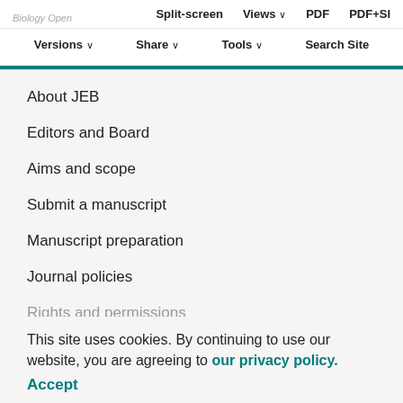Biology Open | Split-screen  Views  PDF  PDF+SI  Versions  Share  Tools  Search Site
About JEB
Editors and Board
Aims and scope
Submit a manuscript
Manuscript preparation
Journal policies
Rights and permissions
This site uses cookies. By continuing to use our website, you are agreeing to our privacy policy. Accept